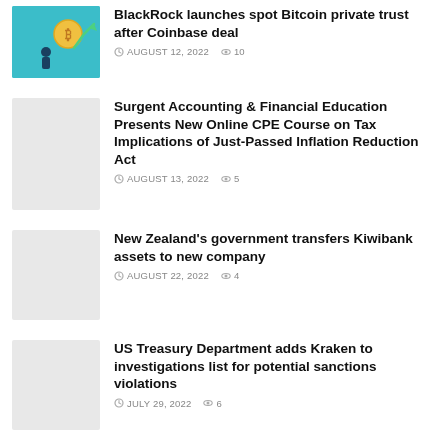[Figure (illustration): Thumbnail image with teal background showing a person figure with a Bitcoin coin and upward arrow]
BlackRock launches spot Bitcoin private trust after Coinbase deal
AUGUST 12, 2022  10
[Figure (photo): Light gray thumbnail placeholder]
Surgent Accounting & Financial Education Presents New Online CPE Course on Tax Implications of Just-Passed Inflation Reduction Act
AUGUST 13, 2022  5
[Figure (photo): Light gray thumbnail placeholder]
New Zealand's government transfers Kiwibank assets to new company
AUGUST 22, 2022  4
[Figure (photo): Light gray thumbnail placeholder]
US Treasury Department adds Kraken to investigations list for potential sanctions violations
JULY 29, 2022  6